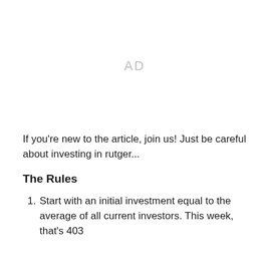[Figure (other): AD placeholder / advertisement space]
If you're new to the article, join us! Just be careful about investing in rutger...
The Rules
Start with an initial investment equal to the average of all current investors. This week, that's 403 Rutger Dollars ($403RD)